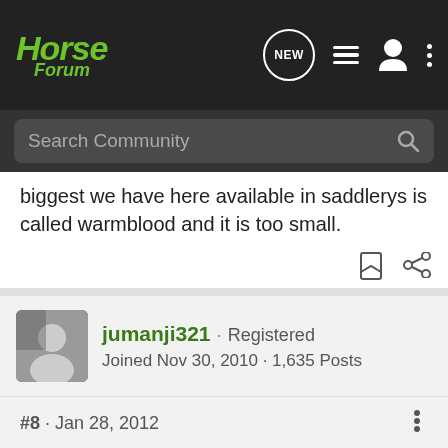[Figure (screenshot): Horse Forum navigation bar with logo, NEW chat icon, list icon, user icon, and three-dot menu icon]
[Figure (screenshot): Search Community search bar on dark background]
biggest we have here available in saddlerys is called warmblood and it is too small.
[Figure (screenshot): Bookmark and share icons]
[Figure (screenshot): User avatar for jumanji321]
jumanji321 · Registered
Joined Nov 30, 2010 · 1,635 Posts
#8 · Jan 28, 2012
It's generally used on horses who have longer or bigger heads. If it is just a bit too big, you can punch holes in to it.
[Figure (screenshot): GroundOS advertisement banner: The nation's top land brokers run on GroundOS. REQUEST A DEMO]